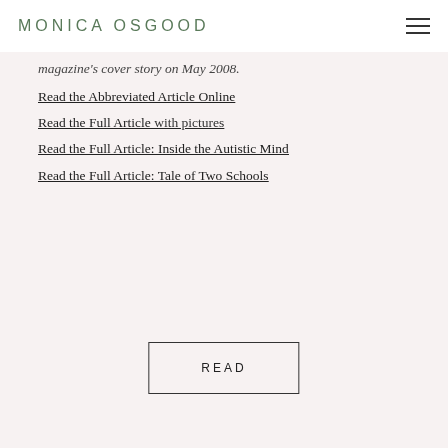MONICA OSGOOD
magazine's cover story on May 2008.
Read the Abbreviated Article Online
Read the Full Article with pictures
Read the Full Article: Inside the Autistic Mind
Read the Full Article: Tale of Two Schools
READ
[Figure (photo): Photograph of children in a classroom setting, shown against a golden/tan background at the bottom of the page]